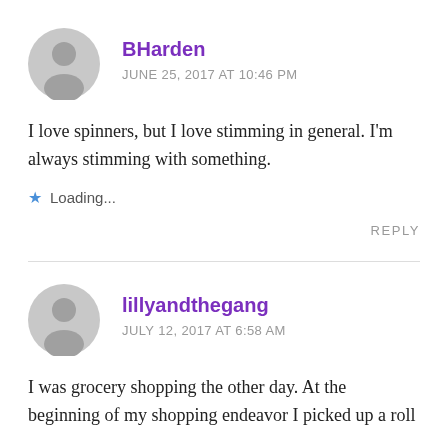BHarden
JUNE 25, 2017 AT 10:46 PM
I love spinners, but I love stimming in general. I’m always stimming with something.
Loading...
REPLY
lillyandthegang
JULY 12, 2017 AT 6:58 AM
I was grocery shopping the other day. At the beginning of my shopping endeavor I picked up a roll